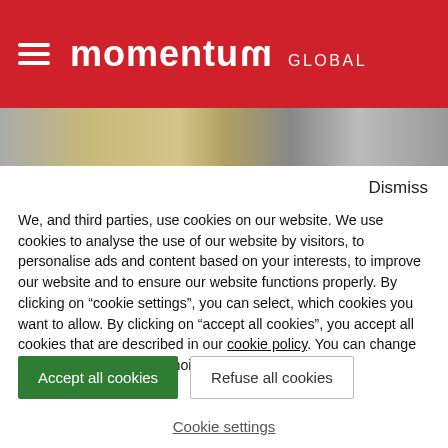momentum GLOBAL
[Figure (photo): Partial view of a person on a bicycle, showing wheels and lower body on a street]
Dismiss
We, and third parties, use cookies on our website. We use cookies to analyse the use of our website by visitors, to personalise ads and content based on your interests, to improve our website and to ensure our website functions properly. By clicking on “cookie settings”, you can select, which cookies you want to allow. By clicking on “accept all cookies”, you accept all cookies that are described in our cookie policy. You can change your mind and consent choices at any time.
Accept all cookies
Refuse all cookies
Cookie settings